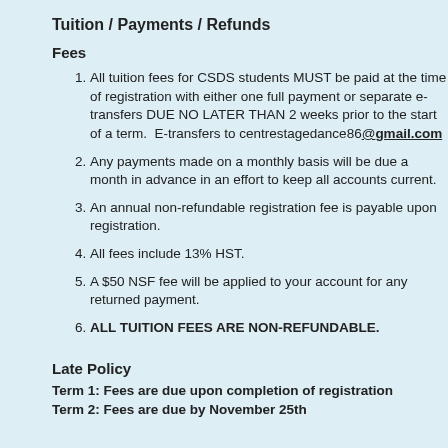Tuition / Payments / Refunds
Fees
All tuition fees for CSDS students MUST the time of registration with either one full separate e-transfers DUE NO LATER THA prior to the start of a term. E-transfers to centrestagedance86@gmail.com
Any payments made on a monthly basis w a month in advance in an effort to keep al
An annual non-refundable registration fee payable upon registration.
All fees include 13% HST.
A $50 NSF fee will be applied to your acc payment.
ALL TUITION FEES ARE NON-REFUND
Late Policy
Term 1: Fees are due upon completion of reg
Term 2: Fees are due by November 25th